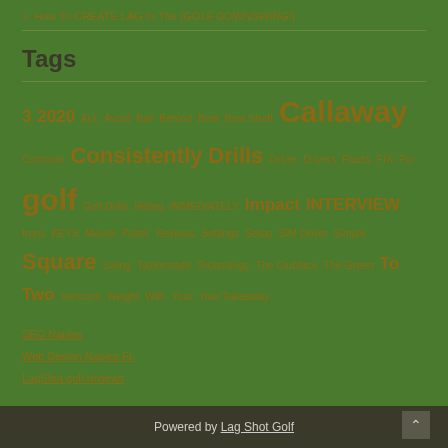> How To CREATE LAG In The {GOLF DOWNSWING!}
Tags
3 2020 ALL Avoid Ball Behind Best Best Shaft Callaway Common Consistently Drills Driver Drivers Faults FIX For golf Golf Drills Hitting IMMEDIATELY Impact INTERVIEW Irons KEYS Mavrik Putter Reviews Settings Setup SIM Driver Simple Square Swing Taylormade Technology The Clubface The Green To Two Versions Weight With Your Your Takeaway
SEO Naples
Web Design Naples FL
LagShot golf reviews
Powered by Lag Shot Golf